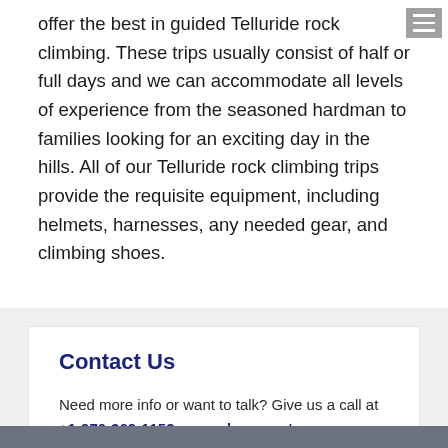offer the best in guided Telluride rock climbing. These trips usually consist of half or full days and we can accommodate all levels of experience from the seasoned hardman to families looking for an exciting day in the hills. All of our Telluride rock climbing trips provide the requisite equipment, including helmets, harnesses, any needed gear, and climbing shoes.
Contact Us
Need more info or want to talk? Give us a call at +1-970-369-1153 or send us a note.